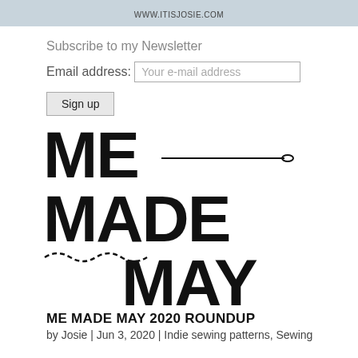WWW.ITISJOSIE.COM
Subscribe to my Newsletter
Email address: Your e-mail address
Sign up
[Figure (logo): Me Made May 2020 logo in large bold black text with a sewing needle and dashed stitch line decoration]
ME MADE MAY 2020 ROUNDUP
by Josie | Jun 3, 2020 | Indie sewing patterns, Sewing